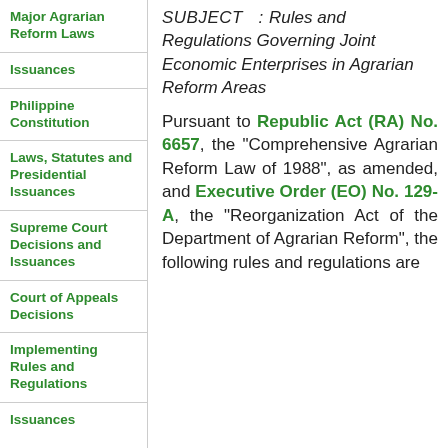Major Agrarian Reform Laws
Issuances
Philippine Constitution
Laws, Statutes and Presidential Issuances
Supreme Court Decisions and Issuances
Court of Appeals Decisions
Implementing Rules and Regulations
Issuances
SUBJECT : Rules and Regulations Governing Joint Economic Enterprises in Agrarian Reform Areas
Pursuant to Republic Act (RA) No. 6657, the "Comprehensive Agrarian Reform Law of 1988", as amended, and Executive Order (EO) No. 129-A, the "Reorganization Act of the Department of Agrarian Reform", the following rules and regulations are